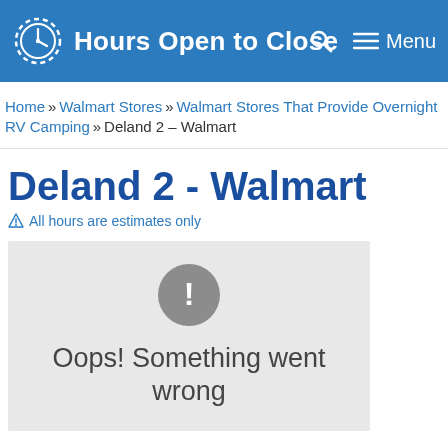Hours Open to Close
Home » Walmart Stores » Walmart Stores That Provide Overnight RV Camping » Deland 2 – Walmart
Deland 2 - Walmart
⚠ All hours are estimates only
[Figure (other): Map error box showing a grey circle with exclamation mark and text 'Oops! Something went wrong']